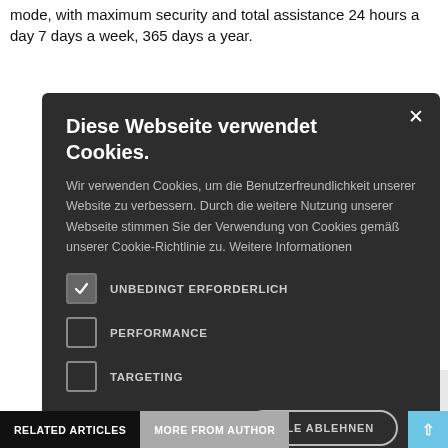mode, with maximum security and total assistance 24 hours a day 7 days a week, 365 days a year.
[Figure (screenshot): A cookie consent modal dialog with dark background. Title: 'Diese Webseite verwendet Cookies.' Body text in German about cookies. Three checkboxes: UNBEDINGT ERFORDERLICH (checked), PERFORMANCE (unchecked), TARGETING (unchecked). Two buttons: ALLE AKZEPTIEREN (green) and ALLE ABLEHNEN (outline). A gear icon with DETAILS ANZEIGEN link. Close X button in top right.]
nagement. You s. This is which refer to a
RELATED ARTICLES
MORE FROM AUTHOR